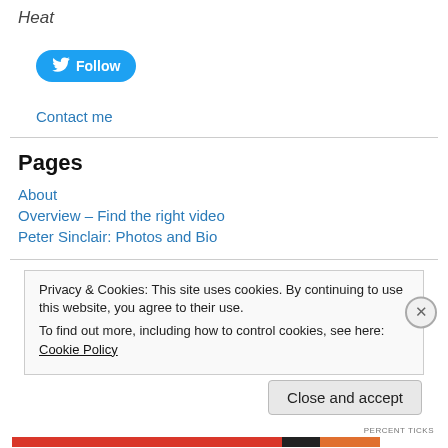Heat
[Figure (other): Twitter Follow button with bird icon]
Contact me
Pages
About
Overview – Find the right video
Peter Sinclair: Photos and Bio
Privacy & Cookies: This site uses cookies. By continuing to use this website, you agree to their use. To find out more, including how to control cookies, see here: Cookie Policy
Close and accept